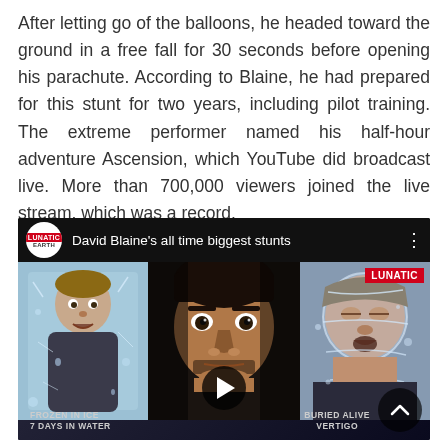After letting go of the balloons, he headed toward the ground in a free fall for 30 seconds before opening his parachute. According to Blaine, he had prepared for this stunt for two years, including pilot training. The extreme performer named his half-hour adventure Ascension, which YouTube did broadcast live. More than 700,000 viewers joined the live stream, which was a record.
[Figure (screenshot): YouTube video thumbnail for 'David Blaine's all time biggest stunts' by LUNATIC EARTH channel. Shows three images of David Blaine in different stunts: frozen in ice (left), intense close-up face (center), and covered in plastic/water (right). Has a play button in the center and LUNATIC badge top right. Captions at bottom: FROZEN IN ICE / 7 DAYS IN WATER (left) and BURIED ALIVE / VERTIGO (right).]